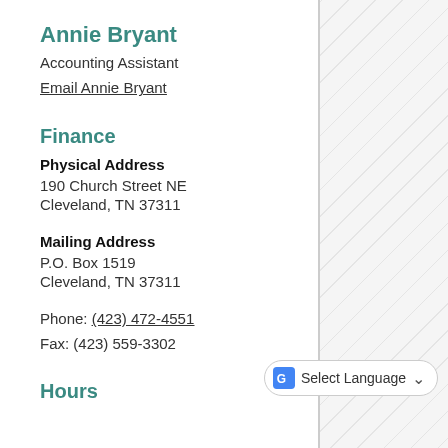Annie Bryant
Accounting Assistant
Email Annie Bryant
Finance
Physical Address
190 Church Street NE
Cleveland, TN  37311
Mailing Address
P.O. Box 1519
Cleveland, TN  37311
Phone: (423) 472-4551
Fax: (423) 559-3302
Hours